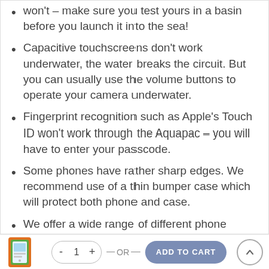won't – make sure you test yours in a basin before you launch it into the sea!
Capacitive touchscreens don't work underwater, the water breaks the circuit. But you can usually use the volume buttons to operate your camera underwater.
Fingerprint recognition such as Apple's Touch ID won't work through the Aquapac – you will have to enter your passcode.
Some phones have rather sharp edges. We recommend use of a thin bumper case which will protect both phone and case.
We offer a wide range of different phone cases. Click here to see the complete collection